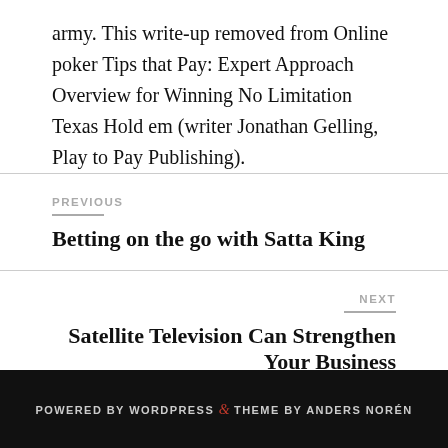army. This write-up removed from Online poker Tips that Pay: Expert Approach Overview for Winning No Limitation Texas Hold em (writer Jonathan Gelling, Play to Pay Publishing).
PREVIOUS
Betting on the go with Satta King
NEXT
Satellite Television Can Strengthen Your Business
POWERED BY WORDPRESS & THEME BY ANDERS NORÉN